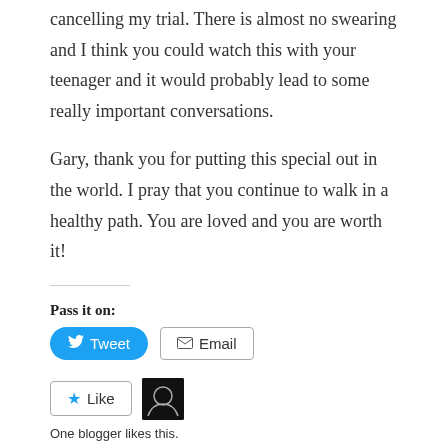cancelling my trial. There is almost no swearing and I think you could watch this with your teenager and it would probably lead to some really important conversations.
Gary, thank you for putting this special out in the world. I pray that you continue to walk in a healthy path. You are loved and you are worth it!
Pass it on:
[Figure (screenshot): Tweet button (blue, rounded) and Email button (grey bordered) for sharing]
[Figure (screenshot): Like button with star icon and a blogger avatar thumbnail]
One blogger likes this.
Related
Dissecting a Frog – Jim
Getting Over Myself, or,